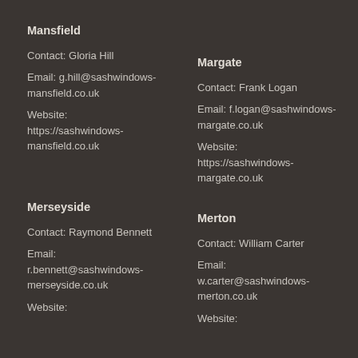Mansfield
Contact: Gloria Hill
Email: g.hill@sashwindows-mansfield.co.uk
Website: https://sashwindows-mansfield.co.uk
Margate
Contact: Frank Logan
Email: f.logan@sashwindows-margate.co.uk
Website: https://sashwindows-margate.co.uk
Merseyside
Contact: Raymond Bennett
Email: r.bennett@sashwindows-merseyside.co.uk
Website:
Merton
Contact: William Carter
Email: w.carter@sashwindows-merton.co.uk
Website: